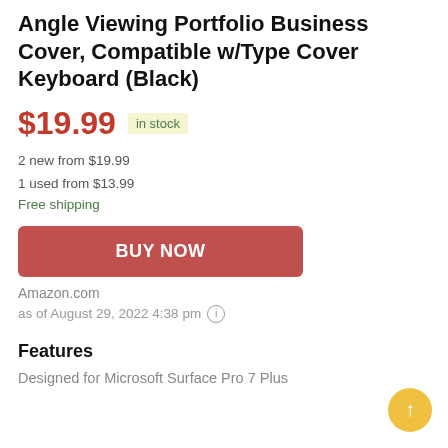/ ... 12.3 Inch Tablet - Multiple Angle Viewing Portfolio Business Cover, Compatible w/Type Cover Keyboard (Black)
$19.99  in stock
2 new from $19.99
1 used from $13.99
Free shipping
BUY NOW
Amazon.com
as of August 29, 2022 4:38 pm
Features
Designed for Microsoft Surface Pro 7 Plus